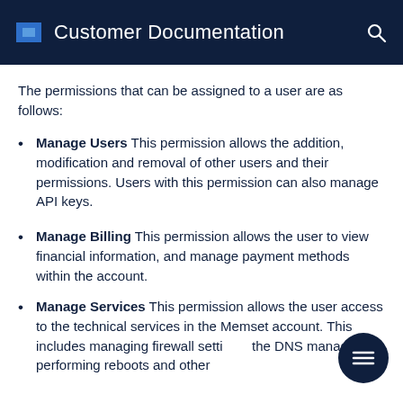Customer Documentation
The permissions that can be assigned to a user are as follows:
Manage Users This permission allows the addition, modification and removal of other users and their permissions. Users with this permission can also manage API keys.
Manage Billing This permission allows the user to view financial information, and manage payment methods within the account.
Manage Services This permission allows the user access to the technical services in the Memset account. This includes managing firewall settings, the DNS manager, performing reboots and other